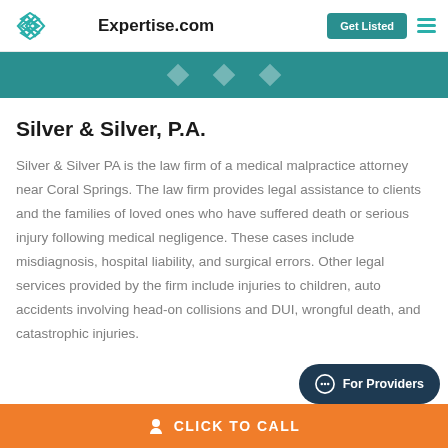Expertise.com | Get Listed | Menu
[Figure (other): Teal banner with white diamond decorative shapes]
Silver & Silver, P.A.
Silver & Silver PA is the law firm of a medical malpractice attorney near Coral Springs. The law firm provides legal assistance to clients and the families of loved ones who have suffered death or serious injury following medical negligence. These cases include misdiagnosis, hospital liability, and surgical errors. Other legal services provided by the firm include injuries to children, auto accidents involving head-on collisions and DUI, wrongful death, and catastrophic injuries.
[Figure (other): For Providers chat button (dark navy pill-shaped button)]
[Figure (other): Orange CLICK TO CALL button bar at bottom]